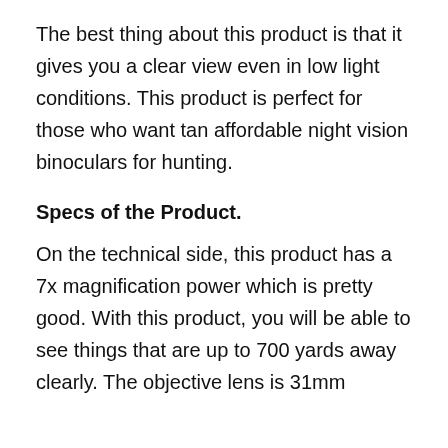The best thing about this product is that it gives you a clear view even in low light conditions. This product is perfect for those who want tan affordable night vision binoculars for hunting.
Specs of the Product.
On the technical side, this product has a 7x magnification power which is pretty good. With this product, you will be able to see things that are up to 700 yards away clearly. The objective lens is 31mm